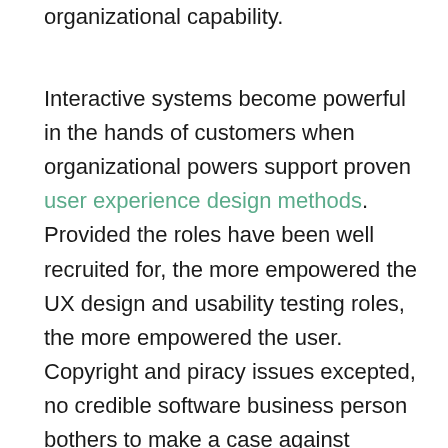organizational capability.
Interactive systems become powerful in the hands of customers when organizational powers support proven user experience design methods. Provided the roles have been well recruited for, the more empowered the UX design and usability testing roles, the more empowered the user. Copyright and piracy issues excepted, no credible software business person bothers to make a case against empowered users. Empowered users become loyal customers. It should be said, though, that some very credible software business people do compromise user empowerment, and sometimes even with good reason.